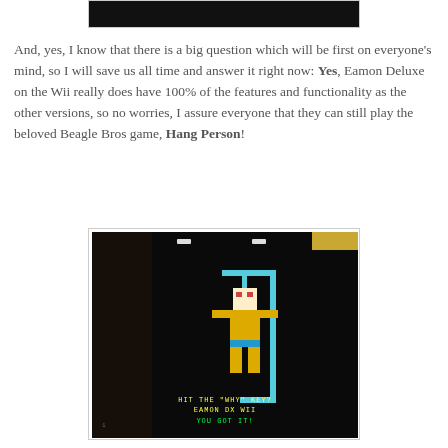[Figure (screenshot): Partial screenshot at top of page, dark/black image, cropped]
And, yes, I know that there is a big question which will be first on everyone's mind, so I will save us all time and answer it right now: Yes, Eamon Deluxe on the Wii really does have 100% of the features and functionality as the other versions, so no worries, I assure everyone that they can still play the beloved Beagle Bros game, Hang Person!
[Figure (screenshot): Screenshot of a retro video game 'Hang Person' (Hangman-style game) displayed on a CRT monitor in a dark room. The screen shows a pixel-art figure hanging from a gallows, with yellow pixel body, blue waist band, and text at the bottom reading 'HIT THE WHY KEY? EAMON DX WII' and 'YOU GOT IT!' in green.]